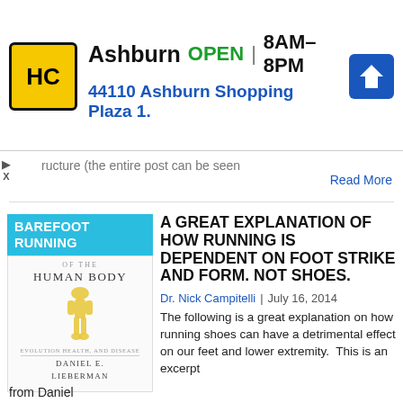[Figure (screenshot): Advertisement banner for Halfords (HC logo in yellow/black). Text: Ashburn OPEN 8AM–8PM, 44110 Ashburn Shopping Plaza 1. Navigation arrow icon on right.]
...ructure (the entire post can be seen
Read More
[Figure (photo): Book cover for 'The Story of the Human Body: Evolution, Health, and Disease' by Daniel E. Lieberman, with yellow skeleton/foot illustration, with 'BAREFOOT RUNNING' tag overlay]
A GREAT EXPLANATION OF HOW RUNNING IS DEPENDENT ON FOOT STRIKE AND FORM. NOT SHOES.
Dr. Nick Campitelli  |  July 16, 2014
The following is a great explanation on how running shoes can have a detrimental effect on our feet and lower extremity.  This is an excerpt from Daniel